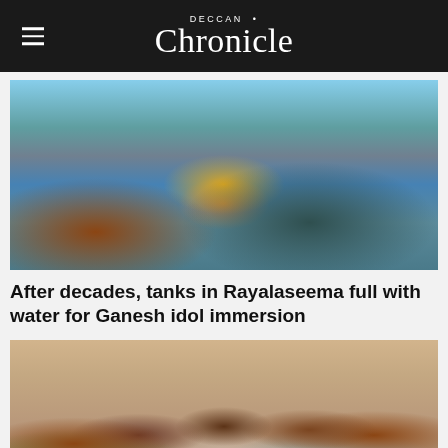DECCAN Chronicle
[Figure (photo): People immersing a Ganesh idol decorated with marigold flowers in water during Ganesh immersion festival in Rayalaseema]
After decades, tanks in Rayalaseema full with water for Ganesh idol immersion
[Figure (photo): Group of politicians speaking at a press conference or public event, including a man in white shirt speaking into microphones, flanked by other politicians]